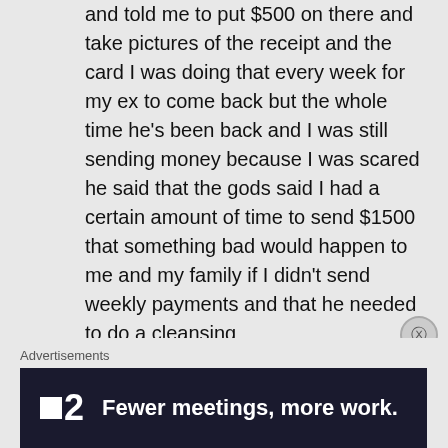and told me to put $500 on there and take pictures of the receipt and the card I was doing that every week for my ex to come back but the whole time he's been back and I was still sending money because I was scared he said that the gods said I had a certain amount of time to send $1500 that something bad would happen to me and my family if I didn't send weekly payments and that he needed to do a cleansing
★ Like
↳ Reply
Advertisements
[Figure (other): Advertisement banner: dark navy background with a square logo icon, number '2', and text 'Fewer meetings, more work.']